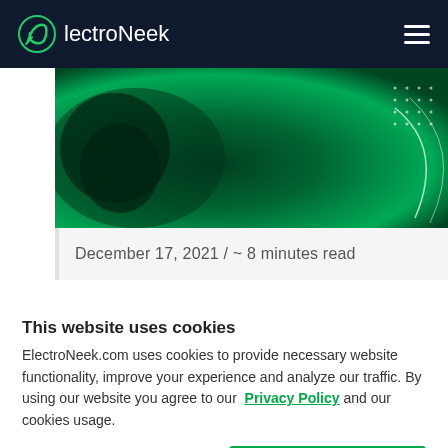ElectroNeek
[Figure (photo): Green-tinted technology hero image with dark overlay, showing abstract circuit/network patterns and a curved white arc element on the right side]
December 17, 2021 / ~ 8 minutes read
This website uses cookies
ElectroNeek.com uses cookies to provide necessary website functionality, improve your experience and analyze our traffic. By using our website you agree to our Privacy Policy and our cookies usage.
Accept All Cookies